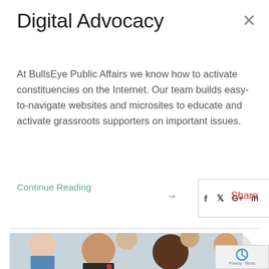Digital Advocacy
At BullsEye Public Affairs we know how to activate constituencies on the Internet. Our team builds easy-to-navigate websites and microsites to educate and activate grassroots supporters on important issues.
Continue Reading →
[Figure (infographic): Social media sharing bar with Facebook, Twitter, Google+, LinkedIn icons and a Share button]
[Figure (photo): Group of diverse professionals in a meeting or conference setting]